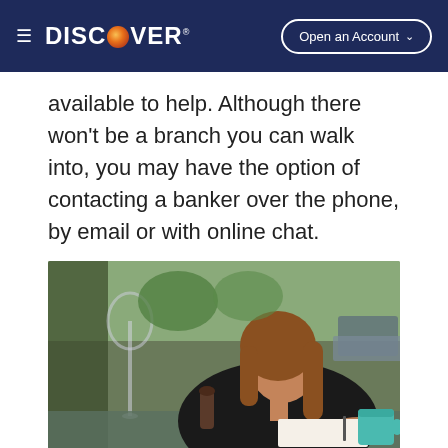DISCOVER | Open an Account
available to help. Although there won't be a branch you can walk into, you may have the option of contacting a banker over the phone, by email or with online chat.
[Figure (photo): A woman in a black shirt sitting at a café table, writing in a notebook. A wine glass is in the foreground and city street visible through the window behind her. A teal mug sits on the table to her right.]
f  (Facebook)  |  Twitter bird icon  |  in (LinkedIn)  |  Up arrow scroll button